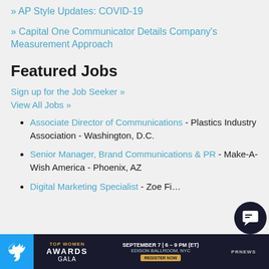» AP Style Updates: COVID-19
» Capital One Communicator Details Company's Measurement Approach
Featured Jobs
Sign up for the Job Seeker »
View All Jobs »
Associate Director of Communications - Plastics Industry Association - Washington, D.C.
Senior Manager, Brand Communications & PR - Make-A-Wish America - Phoenix, AZ
Digital Marketing Specialist - Zoe Fi…
[Figure (screenshot): Bottom advertisement banner: Top Women Awards Gala, September 7 | 6-9 PM (ET), Edison Ballroom, NYC, Register Now, PR News logo. Twitter bird icon on left.]